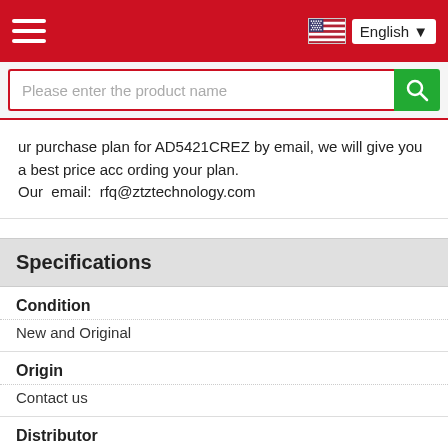English
ur purchase plan for AD5421CREZ by email, we will give you a best price according your plan.
Our email: rfq@ztztechnology.com
Specifications
| Field | Value |
| --- | --- |
| Condition | New and Original |
| Origin | Contact us |
| Distributor | Boser Technology |
| Voltage - Supply, Digital: | 3.17 V ~ 3.48 V |